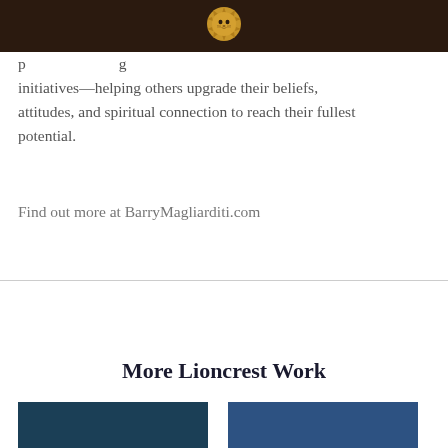Lioncrest logo
initiatives—helping others upgrade their beliefs, attitudes, and spiritual connection to reach their fullest potential.
Find out more at BarryMagliarditi.com
More Lioncrest Work
[Figure (illustration): Two colored rectangular image blocks side by side at the bottom of the page, teal/dark blue on left and medium blue on right]